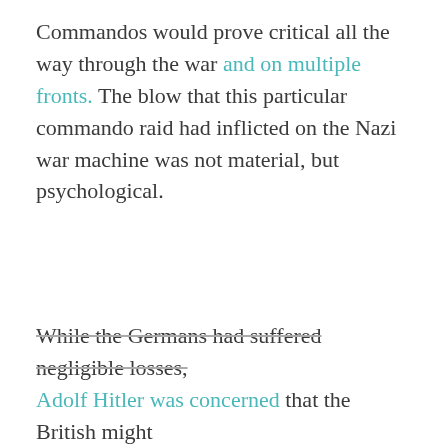Commandos would prove critical all the way through the war and on multiple fronts. The blow that this particular commando raid had inflicted on the Nazi war machine was not material, but psychological.
While the Germans had suffered negligible losses, Adolf Hitler was concerned that the British might